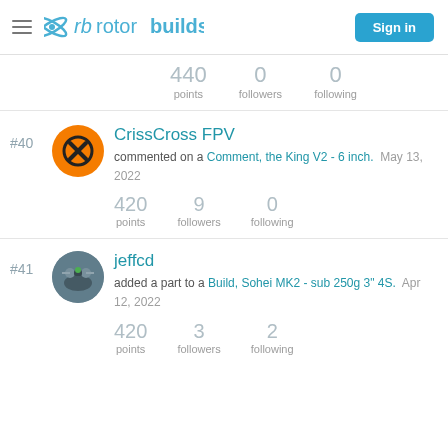rotorbuilds — Sign in
440 points  0 followers  0 following
#40  CrissCross FPV  commented on a Comment, the King V2 - 6 inch.  May 13, 2022  420 points  9 followers  0 following
#41  jeffcd  added a part to a Build, Sohei MK2 - sub 250g 3" 4S.  Apr 12, 2022  420 points  3 followers  2 following